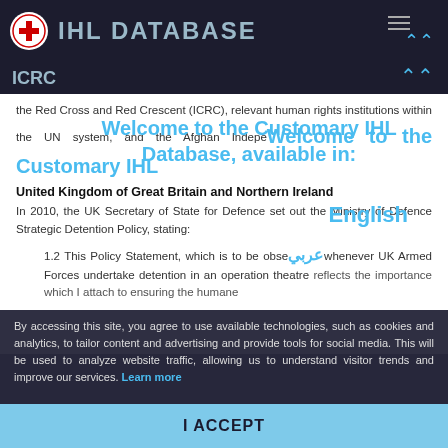IHL DATABASE | ICRC
the Red Cross and Red Crescent (ICRC), relevant human rights institutions within the UN system, and the Afghan Independent Human Rights Commission (AIHRC).
Welcome to the Customary IHL Database, available in:
United Kingdom of Great Britain and Northern Ireland
English
In 2010, the UK Secretary of State for Defence set out the Ministry of Defence Strategic Detention Policy, stating:
عربي
1.2 This Policy Statement, which is to be observed whenever UK Armed Forces undertake detention in an operation theatre reflects the importance which I attach to ensuring the humane
By accessing this site, you agree to use available technologies, such as cookies and analytics, to tailor content and advertising and provide tools for social media. This will be used to analyze website traffic, allowing us to understand visitor trends and improve our services. Learn more
I ACCEPT